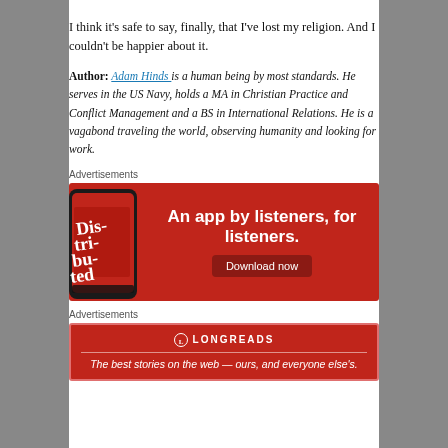I think it's safe to say, finally, that I've lost my religion. And I couldn't be happier about it.
Author: Adam Hinds is a human being by most standards. He serves in the US Navy, holds a MA in Christian Practice and Conflict Management and a BS in International Relations. He is a vagabond traveling the world, observing humanity and looking for work.
Advertisements
[Figure (screenshot): Red advertisement banner for a podcast listening app showing a phone with 'Distributed' podcast, with text 'An app by listeners, for listeners.' and a 'Download now' button.]
Advertisements
[Figure (screenshot): Red Longreads advertisement banner with logo and text 'The best stories on the web — ours, and everyone else's.']